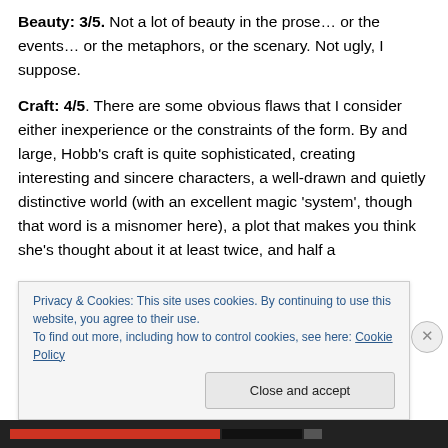Beauty: 3/5. Not a lot of beauty in the prose… or the events… or the metaphors, or the scenary. Not ugly, I suppose.
Craft: 4/5. There are some obvious flaws that I consider either inexperience or the constraints of the form. By and large, Hobb's craft is quite sophisticated, creating interesting and sincere characters, a well-drawn and quietly distinctive world (with an excellent magic 'system', though that word is a misnomer here), a plot that makes you think she's thought about it at least twice, and half a
Privacy & Cookies: This site uses cookies. By continuing to use this website, you agree to their use.
To find out more, including how to control cookies, see here: Cookie Policy
Close and accept